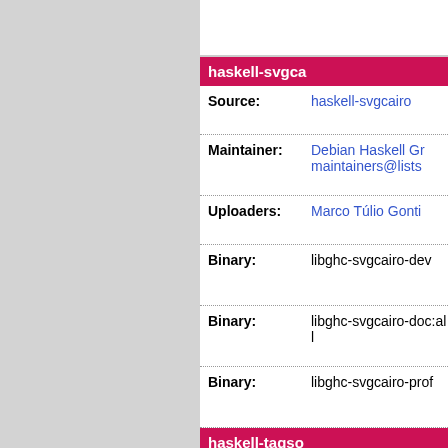haskell-svgca...
| Field | Value |
| --- | --- |
| Source: | haskell-svgcairo |
| Maintainer: | Debian Haskell Gr... maintainers@lists... |
| Uploaders: | Marco Túlio Gonti... |
| Binary: | libghc-svgcairo-dev |
| Binary: | libghc-svgcairo-doc:all |
| Binary: | libghc-svgcairo-prof |
haskell-tagso...
| Field | Value |
| --- | --- |
| Source: | haskell-tagsoup |
| Maintainer: | Debian Haskell Gr... maintainers@lists... |
| Uploaders: | Marco Túlio Gonti... <clint@debian.org... |